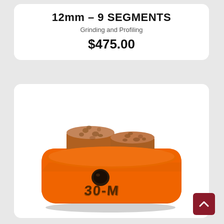12mm – 9 SEGMENTS
Grinding and Profiling
$475.00
[Figure (photo): Orange diamond grinding segment tool labeled '30-M' with two cylindrical diamond segments on top and a central threaded hole, used for concrete grinding and profiling.]